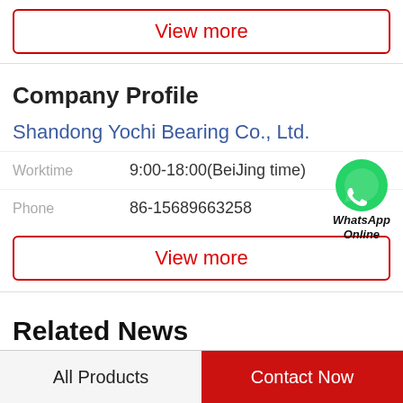View more
Company Profile
Shandong Yochi Bearing Co., Ltd.
Worktime   9:00-18:00(BeiJing time)
Phone   86-15689663258
[Figure (logo): WhatsApp green circle logo with phone icon, labeled WhatsApp Online in bold italic text]
View more
Related News
All Products
Contact Now